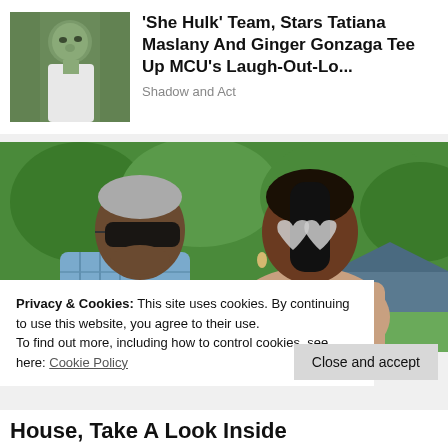[Figure (photo): Thumbnail photo of a man with green-tinted skin (She Hulk character), looking sideways, hands clasped, in a white tank top outdoors]
'She Hulk' Team, Stars Tatiana Maslany And Ginger Gonzaga Tee Up MCU's Laugh-Out-Lo...
Shadow and Act
[Figure (photo): Photo of two people outdoors with sunglasses against a lush green landscape, a man in a blue plaid shirt and a woman with heart-shaped sunglasses]
Privacy & Cookies: This site uses cookies. By continuing to use this website, you agree to their use.
To find out more, including how to control cookies, see here: Cookie Policy
Close and accept
House, Take A Look Inside